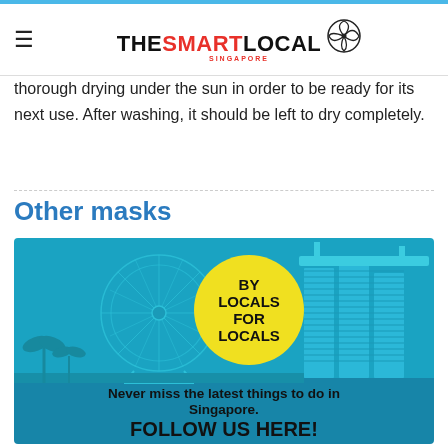THE SMART LOCAL SINGAPORE
thorough drying under the sun in order to be ready for its next use. After washing, it should be left to dry completely.
Other masks
[Figure (infographic): TheSmartLocal Singapore promotional banner with Singapore skyline illustration (Ferris wheel, Marina Bay Sands), yellow circle badge reading 'BY LOCALS FOR LOCALS', text 'Never miss the latest things to do in Singapore. FOLLOW US HERE!' on blue background, and social media icons at bottom.]